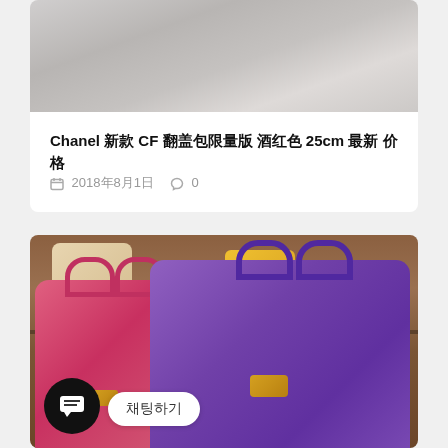[Figure (photo): Top partial view of a white/grey surface, possibly a Chanel bag, partially cropped at top of page]
Chanel 新款 CF 翻盖包限量版 酒红色 25cm 最新 价格
2018年8月1日   0
[Figure (photo): Photo of a luxury store display showing a pink/red Hermes Birkin bag on the left and a purple ostrich leather Hermes Birkin bag on the right, with other bags visible on shelves in the background. A chat button overlay with Korean text 채팅하기 (Chat) is visible at the bottom left.]